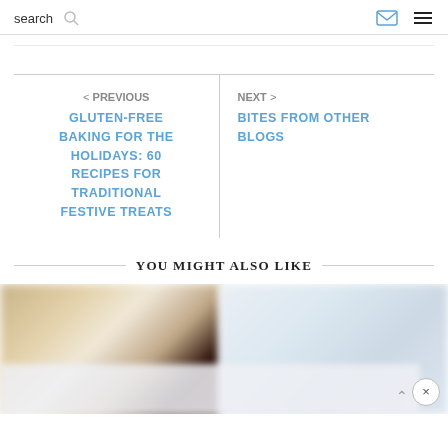search
< PREVIOUS
GLUTEN-FREE BAKING FOR THE HOLIDAYS: 60 RECIPES FOR TRADITIONAL FESTIVE TREATS
NEXT >
BITES FROM OTHER BLOGS
YOU MIGHT ALSO LIKE
[Figure (photo): Blurred food photos strip showing baked goods on left and lighter items on right, with a partially blurred overlay bar at the bottom]